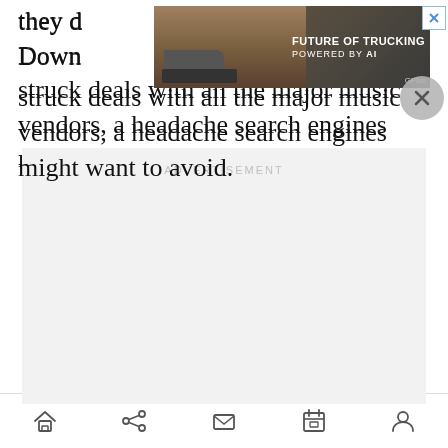they d… struck deals with all the major music vendors, a headache search engines might want to avoid.
[Figure (screenshot): Advertisement banner showing a truck with text FUTURE OF TRUCKING POWERED BY AI]
[Figure (screenshot): Advertisement placeholder box with label ADVERTISEMENT]
Bottom navigation bar with home, share, mail, calendar, and profile icons